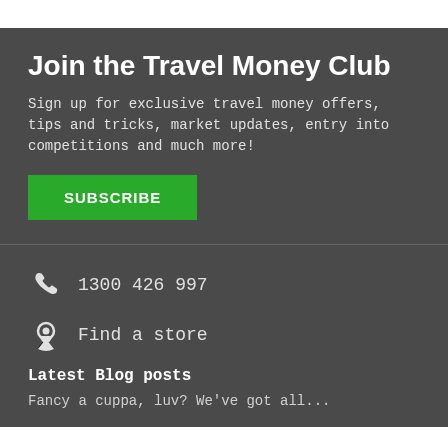Join the Travel Money Club
Sign up for exclusive travel money offers, tips and tricks, market updates, entry into competitions and much more!
SUBSCRIBE
1300 426 997
Find a store
Latest Blog posts
Fancy a cuppa, luv? We've got all...